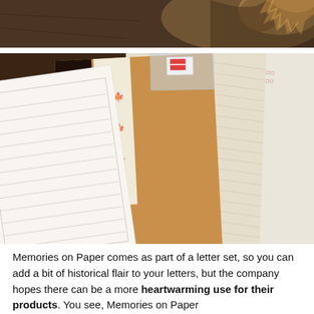[Figure (photo): Partial view of decorative objects on a dark wooden surface, top strip showing carved/dark floral or tree motifs against a brown background.]
[Figure (photo): A flat lay of Japanese stationery / letter set components spread on a dark wooden table: a white lined writing paper, kraft/brown paper with laser-cut maple leaf decorations, a patterned paper with herringbone-like texture featuring brown maple leaf motifs, a plain cream paper on the far right, and a plastic sleeve with a small label tag at the top center. Red Japanese characters or stamp marks appear in the top right area.]
Memories on Paper comes as part of a letter set, so you can add a bit of historical flair to your letters, but the company hopes there can be a more heartwarming use for their products. You see, Memories on Paper